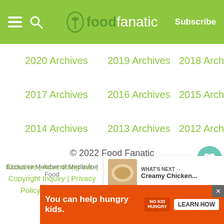foodfanatic | Subscribe
2020 Archives
2019 Archives
2018 Archives
2017 Archives
2016 Archives
2015 Archives
2014 Archives
2013 Archives
2012 Archives
© 2022 Food Fanatic
About Us | Advertising Info | Copyright Inquiry | Privacy Policy | Contact Us
Exclusive Member of Mediavine Food
WHAT'S NEXT → Creamy Chicken...
[Figure (screenshot): You can help hungry kids. NO KID HUNGRY. LEARN HOW advertisement banner]